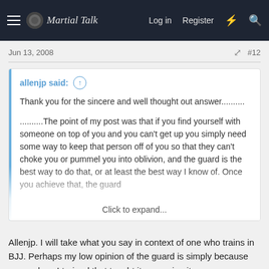Martial Talk — Log in  Register
Jun 13, 2008  #12
allenjp said: ↑

Thank you for the sincere and well thought out answer..........


..........The point of my post was that if you find yourself with someone on top of you and you can't get up you simply need some way to keep that person off of you so that they can't choke you or pummel you into oblivion, and the guard is the best way to do that, or at least the best way I know of. Once you achieve that, the guard

Click to expand...
Allenjp. I will take what you say in context of one who trains in BJJ. Perhaps my low opinion of the guard is simply because every place I trained that taught it was using it as an